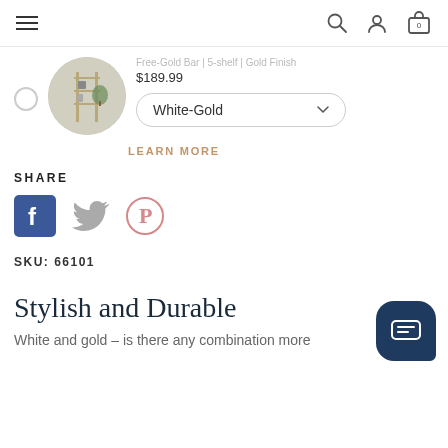Navigation bar with hamburger menu, search, profile, and cart icons
[Figure (photo): Product thumbnail showing a shelving unit with plants, circular crop]
$189.99
White-Gold
LEARN MORE
SHARE
[Figure (logo): Facebook, Twitter, and Pinterest social share icons]
SKU: 66101
Stylish and Durable
White and gold – is there any combination more